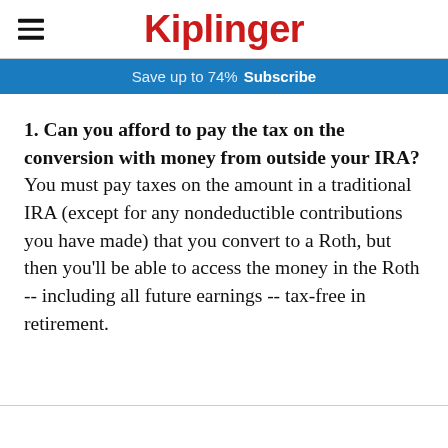Kiplinger
Save up to 74%  Subscribe
1. Can you afford to pay the tax on the conversion with money from outside your IRA? You must pay taxes on the amount in a traditional IRA (except for any nondeductible contributions you have made) that you convert to a Roth, but then you'll be able to access the money in the Roth -- including all future earnings -- tax-free in retirement.